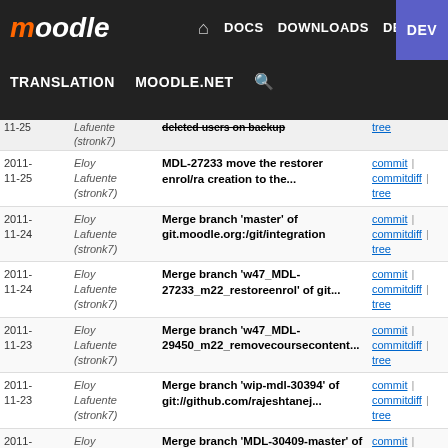moodle | DOCS DOWNLOADS DEMO TRACKER DEV | TRANSLATION MOODLE.NET
| Date | Author | Commit message | Links |
| --- | --- | --- | --- |
| 2011-11-25 | Eloy Lafuente (stronk7) | deleted users on backup | commit | commitdiff | tree |
| 2011-11-25 | Eloy Lafuente (stronk7) | MDL-27233 move the restorer enrol/ra creation to the... | commit | commitdiff | tree |
| 2011-11-24 | Eloy Lafuente (stronk7) | Merge branch 'master' of git.moodle.org:/git/integration | commit | commitdiff | tree |
| 2011-11-24 | Eloy Lafuente (stronk7) | Merge branch 'w47_MDL-27233_m22_restoreenrol' of git... | commit | commitdiff | tree |
| 2011-11-23 | Eloy Lafuente (stronk7) | Merge branch 'w47_MDL-29450_m22_removecoursecontent... | commit | commitdiff | tree |
| 2011-11-23 | Eloy Lafuente (stronk7) | Merge branch 'wip-mdl-30394' of git://github.com/rajeshtanej... | commit | commitdiff | tree |
| 2011-11-23 | Eloy Lafuente (stronk7) | Merge branch 'MDL-30409-master' of git://github.com... | commit | commitdiff | tree |
| 2011-11-23 | Eloy Lafuente (stronk7) | Merge branch 'wip-mdl-30375' of git://github.com/rajeshtanej... | commit | commitdiff | tree |
| 2011-11-23 | Eloy Lafuente (stronk7) | Merge branch 'MDL-30398-master' of git://github.com... | commit | commitdiff | tree |